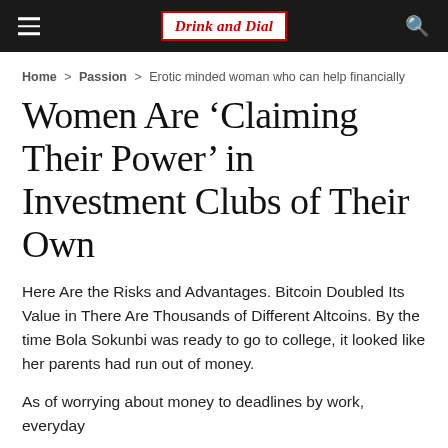Drink and Dial
Home > Passion > Erotic minded woman who can help financially
Women Are ‘Claiming Their Power’ in Investment Clubs of Their Own
Here Are the Risks and Advantages. Bitcoin Doubled Its Value in There Are Thousands of Different Altcoins. By the time Bola Sokunbi was ready to go to college, it looked like her parents had run out of money.
As of worrying about money to deadlines by work, everyday